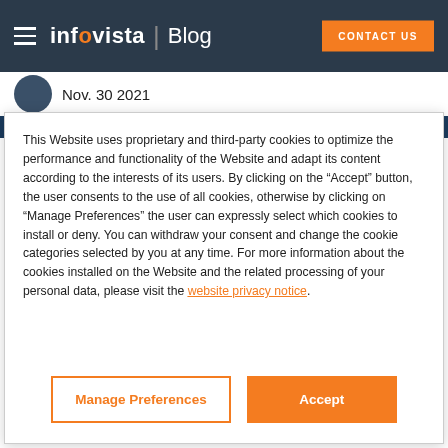infovista | Blog  CONTACT US
Nov. 30 2021
This Website uses proprietary and third-party cookies to optimize the performance and functionality of the Website and adapt its content according to the interests of its users. By clicking on the “Accept” button, the user consents to the use of all cookies, otherwise by clicking on “Manage Preferences” the user can expressly select which cookies to install or deny. You can withdraw your consent and change the cookie categories selected by you at any time. For more information about the cookies installed on the Website and the related processing of your personal data, please visit the website privacy notice.
Manage Preferences
Accept